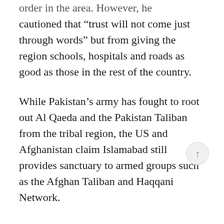order in the area. However, he cautioned that “trust will not come just through words” but from giving the region schools, hospitals and roads as good as those in the rest of the country.
While Pakistan’s army has fought to root out Al Qaeda and the Pakistan Taliban from the tribal region, the US and Afghanistan claim Islamabad still provides sanctuary to armed groups such as the Afghan Taliban and Haqqani Network.